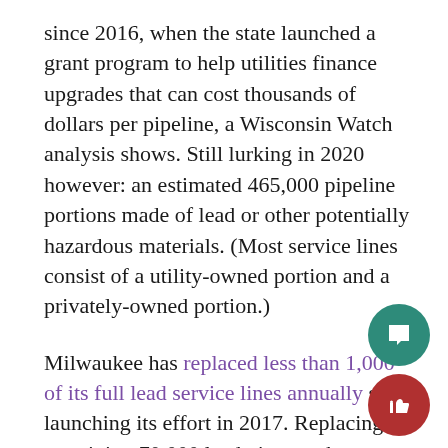since 2016, when the state launched a grant program to help utilities finance upgrades that can cost thousands of dollars per pipeline, a Wisconsin Watch analysis shows. Still lurking in 2020 however: an estimated 465,000 pipeline portions made of lead or other potentially hazardous materials. (Most service lines consist of a utility-owned portion and a privately-owned portion.)
Milwaukee has replaced less than 1,000 of its full lead service lines annually since launching its effort in 2017. Replacing the remaining 70,000 lead pipes at that pace would take more than 70 years, and the full price tag would cost hundreds of millions of dollars that city officials say they lack.
Wisconsin's Republican-controlled Legislature has rejected Democratic Gov. Tony Evers' years-long push to boost funding for pipeline replacements statewide, with some Republicans saying too much money would flow to